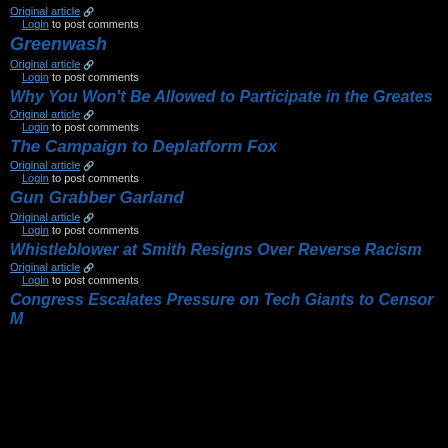Original article [ext] Login to post comments
Greenwash
Original article [ext] Login to post comments
Why You Won't Be Allowed to Participate in the Greatest...
Original article [ext] Login to post comments
The Campaign to Deplatform Fox
Original article [ext] Login to post comments
Gun Grabber Garland
Original article [ext] Login to post comments
Whistleblower at Smith Resigns Over Reverse Racism
Original article [ext] Login to post comments
Congress Escalates Pressure on Tech Giants to Censor M...